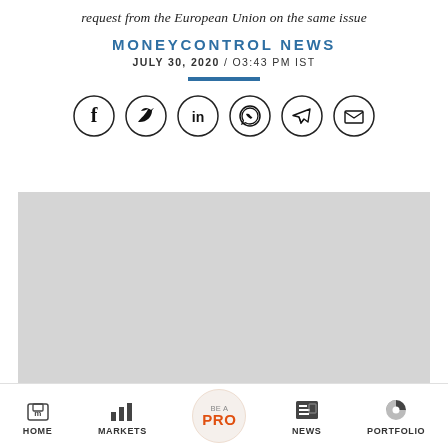request from the European Union on the same issue
MONEYCONTROL NEWS
JULY 30, 2020 / 03:43 PM IST
[Figure (infographic): Social sharing icons: Facebook, Twitter, LinkedIn, WhatsApp, Telegram, Email — each in a circle]
[Figure (photo): Gray placeholder image box]
HOME | MARKETS | BE A PRO | NEWS | PORTFOLIO